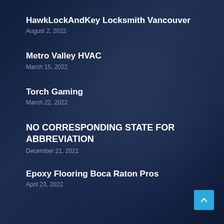HawkLockAndKey Locksmith Vancouver
August 2, 2022
Metro Valley HVAC
March 15, 2022
Torch Gaming
March 22, 2022
NO CORRESPONDING STATE FOR ABBREVIATION
December 21, 2021
Epoxy Flooring Boca Raton Pros
April 23, 2022